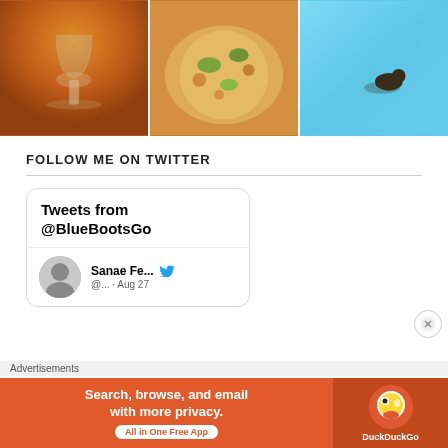[Figure (photo): Three photos in a row: a crystal wine glass in front of a fireplace; a colorful salad dish with nuts and greens; a duck in clear turquoise water]
FOLLOW ME ON TWITTER
[Figure (screenshot): Twitter widget showing 'Tweets from @BlueBootsGo' with a tweet from Sanae Fe... @... Aug 27]
Advertisements
[Figure (infographic): DuckDuckGo advertisement: Search, browse, and email with more privacy. All in One Free App]